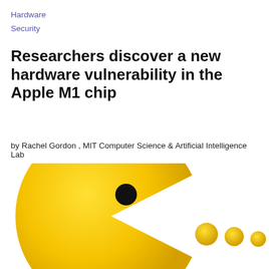Hardware
Security
Researchers discover a new hardware vulnerability in the Apple M1 chip
by Rachel Gordon , MIT Computer Science & Artificial Intelligence Lab
[Figure (illustration): Pac-Man style yellow character with open mouth facing right, with black eye, on white background. Three yellow dots to the right of the mouth representing pellets being chased.]